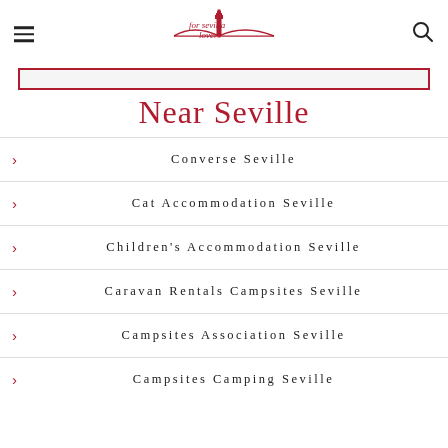for sevilla lovers [logo with hamburger menu and search icon]
Near Seville
Converse Seville
Cat Accommodation Seville
Children's Accommodation Seville
Caravan Rentals Campsites Seville
Campsites Association Seville
Campsites Camping Seville